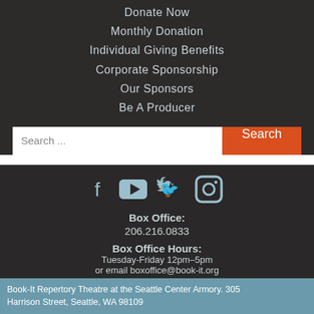Donate Now
Monthly Donation
Individual Giving Benefits
Corporate Sponsorship
Our Sponsors
Be A Producer
Search ...
Box Office: 206.216.0833
Box Office Hours: Tuesday-Friday 12pm–5pm or email boxoffice@book-it.org
Book-It Repertory Theatre at the Seattle Center Armory. 305 Harrison Street, Seattle, WA 98109